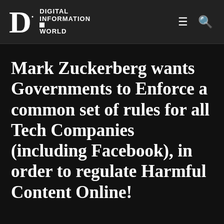Digital Information World
Mark Zuckerberg wants Governments to Enforce a common set of rules for all Tech Companies (including Facebook), in order to regulate Harmful Content Online!